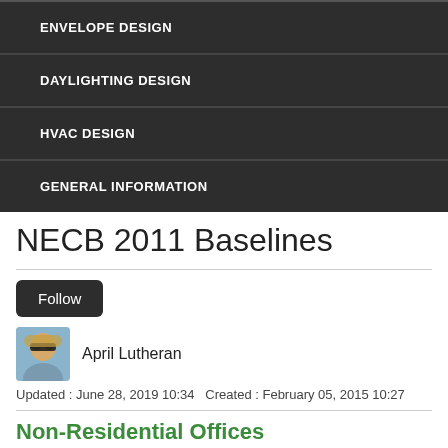ENVELOPE DESIGN
DAYLIGHTING DESIGN
HVAC DESIGN
GENERAL INFORMATION
NECB 2011 Baselines
Follow
[Figure (photo): Avatar photo of April Lutheran, person with sunglasses and blonde hair]
April Lutheran
Updated : June 28, 2019 10:34 Created : February 05, 2015 10:27
Non-Residential Offices